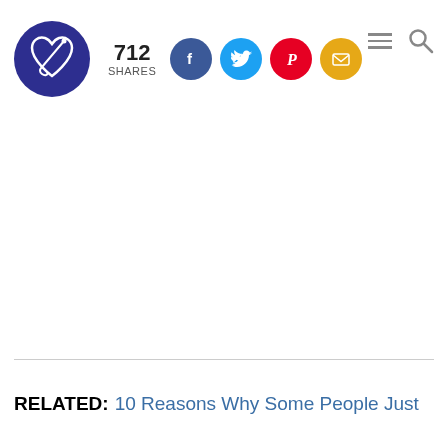712 SHARES [logo] [Facebook] [Twitter] [Pinterest] [Email] [Menu] [Search]
RELATED: 10 Reasons Why Some People Just